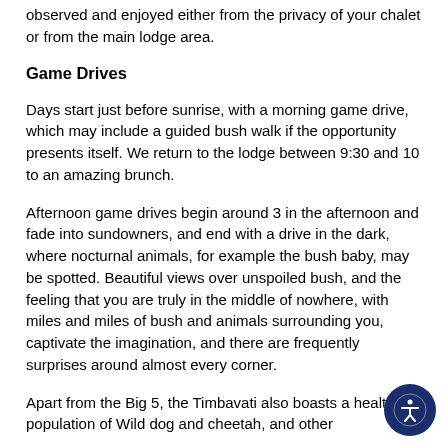observed and enjoyed either from the privacy of your chalet or from the main lodge area.
Game Drives
Days start just before sunrise, with a morning game drive, which may include a guided bush walk if the opportunity presents itself. We return to the lodge between 9:30 and 10 to an amazing brunch.
Afternoon game drives begin around 3 in the afternoon and fade into sundowners, and end with a drive in the dark, where nocturnal animals, for example the bush baby, may be spotted. Beautiful views over unspoiled bush, and the feeling that you are truly in the middle of nowhere, with miles and miles of bush and animals surrounding you, captivate the imagination, and there are frequently surprises around almost every corner.
Apart from the Big 5, the Timbavati also boasts a healthy population of Wild dog and cheetah, and other